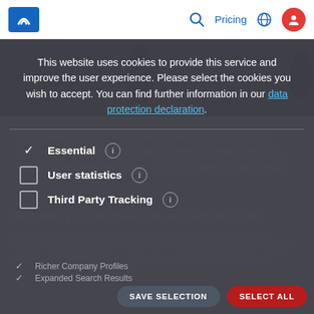Implisense navigation bar with logo, Pricing link, globe icon, and user account icon
VIA Urlaub-Service GmbH was recently referenced in connection with the following countries in press releases, job postings, register filings, and associated social media.
This website uses cookies to provide this service and improve the user experience. Please select the cookies you wish to accept. You can find further information in our data protection declaration.
Essential (checked)
User statistics (unchecked)
Third Party Tracking (unchecked)
Register your Implisense account for free
Register now for a free implisense account. Registered users have access to advanced analyses and more key figures on company profiles, resources and more extensive search results and can also create and manage their own favorites.
Richer Company Profiles
Expanded Search Results